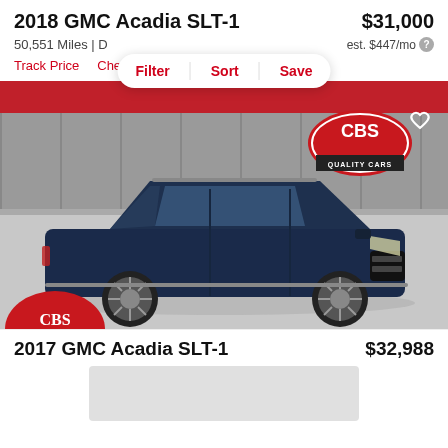2018 GMC Acadia SLT-1
$31,000
50,551 Miles | D
est. $447/mo
Filter  Sort  Save
Track Price   Check Availability
[Figure (photo): 2018 GMC Acadia SLT-1 in dark navy blue, parked in a dealership garage. CBS Quality Cars logo visible in the background. A heart/save icon is in the upper right corner.]
2017 GMC Acadia SLT-1
$32,988